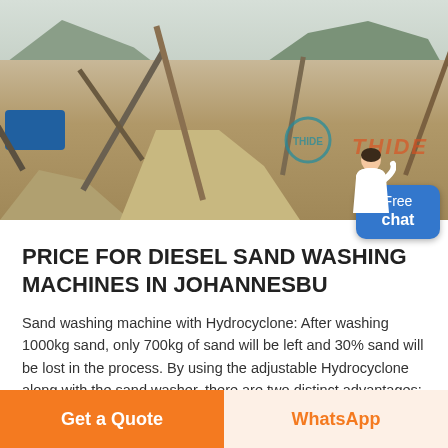[Figure (photo): Outdoor sand processing / sand washing machine facility with conveyor belts, industrial structures, sand piles, and blue machinery. Mountains and trees visible in background. THIDE watermark visible.]
PRICE FOR DIESEL SAND WASHING MACHINES IN JOHANNESBU
Sand washing machine with Hydrocyclone: After washing 1000kg sand, only 700kg of sand will be left and 30% sand will be lost in the process. By using the adjustable Hydrocyclone along with the sand washer, there are two distinct advantages: After washing, the